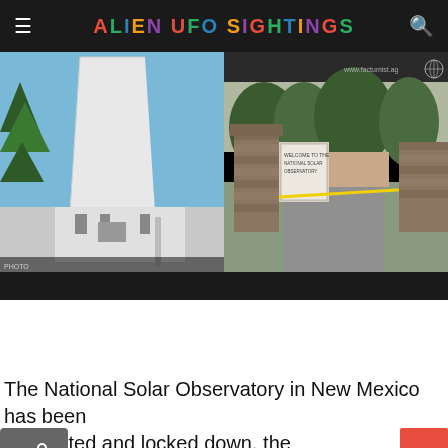ALIEN UFO SIGHTINGS
[Figure (photo): Left: White tower structure of the National Solar Observatory building against blue sky with pine trees. Right: Stone gate entrance to the observatory grounds with yellow tape and trees in background.]
The National Solar Observatory in New Mexico has been evacuated and locked down, the [Privacy Policy] d and th